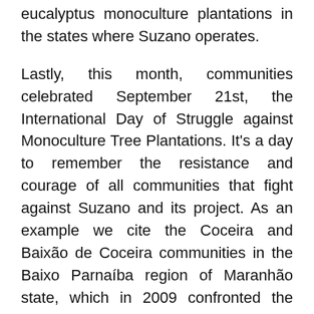eucalyptus monoculture plantations in the states where Suzano operates.
Lastly, this month, communities celebrated September 21st, the International Day of Struggle against Monoculture Tree Plantations. It's a day to remember the resistance and courage of all communities that fight against Suzano and its project. As an example we cite the Coceira and Baixão de Coceira communities in the Baixo Parnaíba region of Maranhão state, which in 2009 confronted the machines with which Suzano wanted to clear and destoy an area of Cerrado that was important to the community, and plant eucalyptus. More than once, the communities mobilized and stood in front of the machines to prevent this crime. United in defence of life, the Cerrado and their way of life, they managed to